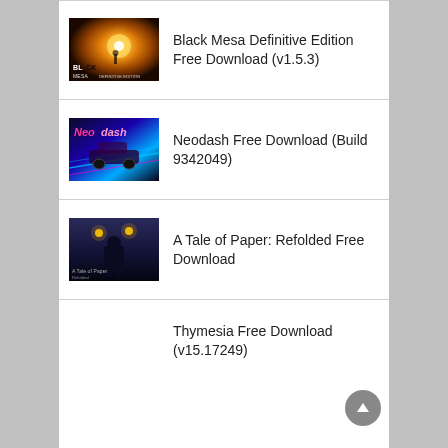Black Mesa Definitive Edition Free Download (v1.5.3)
Neodash Free Download (Build 9342049)
A Tale of Paper: Refolded Free Download
Thymesia Free Download (v15.17249)